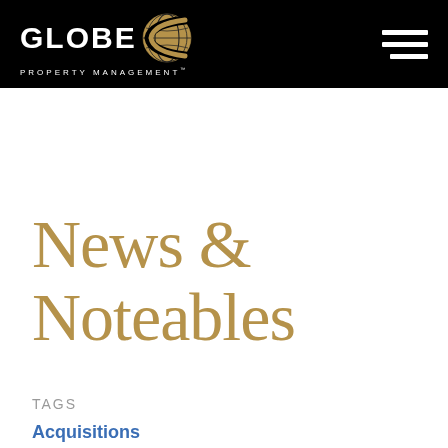[Figure (logo): Globe Property Management logo with globe icon on black header bar, and hamburger menu icon on right]
News & Noteables
TAGS
Acquisitions